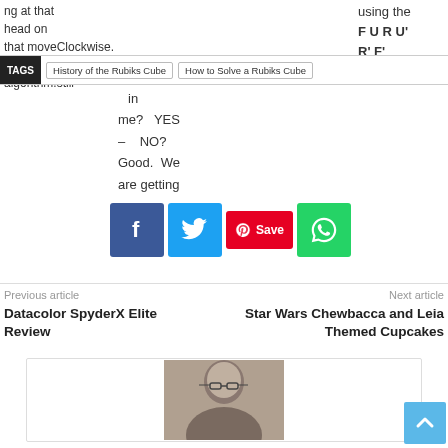ng at that
head on
that moveClockwise.
of the Are you
algorithm.still
using the
FURU'
R' F'
algorithm.
TAGS | History of the Rubiks Cube | How to Solve a Rubiks Cube
in
me? YES
– NO?
Good. We
are getting
[Figure (screenshot): Social share buttons: Facebook (blue), Twitter (light blue), Pinterest Save (red), WhatsApp (green)]
Previous article
Datacolor SpyderX Elite Review
Next article
Star Wars Chewbacca and Leia Themed Cupcakes
[Figure (photo): Black and white headshot of a middle-aged man with glasses]